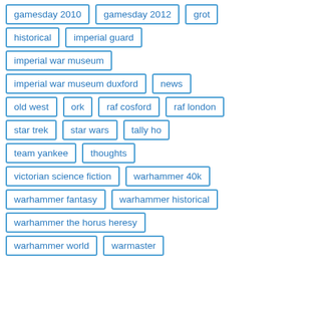gamesday 2010
gamesday 2012
grot
historical
imperial guard
imperial war museum
imperial war museum duxford
news
old west
ork
raf cosford
raf london
star trek
star wars
tally ho
team yankee
thoughts
victorian science fiction
warhammer 40k
warhammer fantasy
warhammer historical
warhammer the horus heresy
warhammer world
warmaster